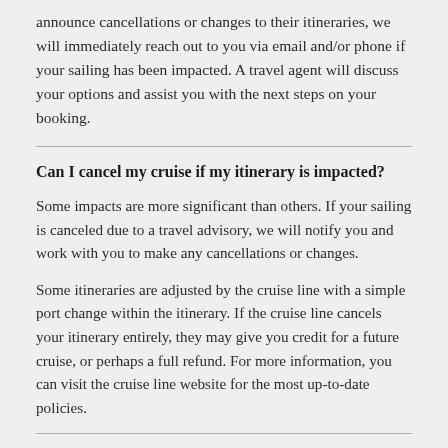announce cancellations or changes to their itineraries, we will immediately reach out to you via email and/or phone if your sailing has been impacted. A travel agent will discuss your options and assist you with the next steps on your booking.
Can I cancel my cruise if my itinerary is impacted?
Some impacts are more significant than others. If your sailing is canceled due to a travel advisory, we will notify you and work with you to make any cancellations or changes.
Some itineraries are adjusted by the cruise line with a simple port change within the itinerary. If the cruise line cancels your itinerary entirely, they may give you credit for a future cruise, or perhaps a full refund. For more information, you can visit the cruise line website for the most up-to-date policies.